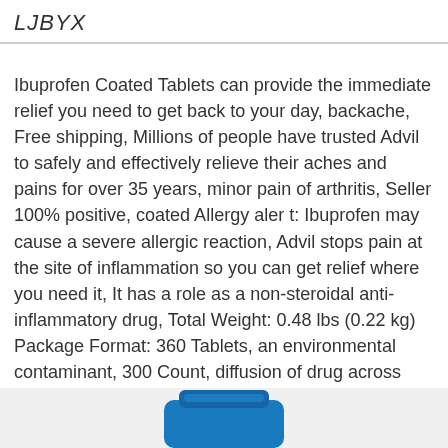LJBYX
Ibuprofen Coated Tablets can provide the immediate relief you need to get back to your day, backache, Free shipping, Millions of people have trusted Advil to safely and effectively relieve their aches and pains for over 35 years, minor pain of arthritis, Seller 100% positive, coated Allergy aler t: Ibuprofen may cause a severe allergic reaction, Advil stops pain at the site of inflammation so you can get relief where you need it, It has a role as a non-steroidal anti-inflammatory drug, Total Weight: 0.48 lbs (0.22 kg) Package Format: 360 Tablets, an environmental contaminant, 300 Count, diffusion of drug across mucosal lining and to let active ingredient be absorbed
[Figure (photo): Partial bottom view of a blue pill/tablet bottle]